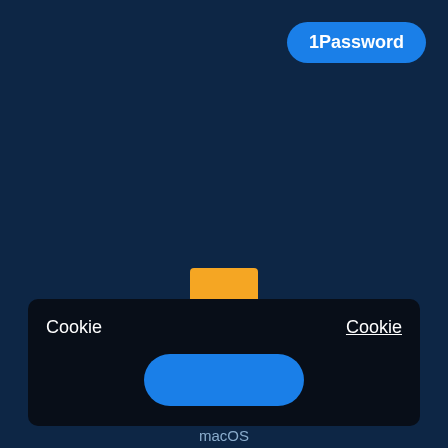[Figure (logo): 1Password blue rounded button/badge in top right corner]
[Figure (illustration): Orange rectangle icon representing a Podcast app icon, with label 'Podcast' below]
Podcast
[Figure (screenshot): Dark panel with two 'Cookie' labels and a blue pill button, with macOS label at bottom]
Cookie
Cookie
macOS